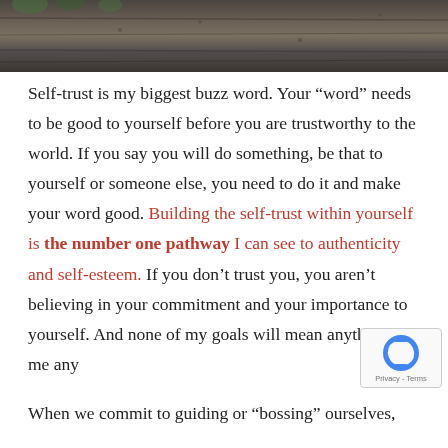[Figure (photo): Partial photo showing wooden surface/fence with dark weathered wood texture and some green foliage at top]
Self-trust is my biggest buzz word. Your “word” needs to be good to yourself before you are trustworthy to the world. If you say you will do something, be that to yourself or someone else, you need to do it and make your word good. Building the self-trust within yourself is the number one pathway I can see to authenticity and self-esteem. If you don’t trust you, you aren’t believing in your commitment and your importance to yourself. And none of my goals will mean anything to me any
When we commit to guiding or “bossing” ourselves,